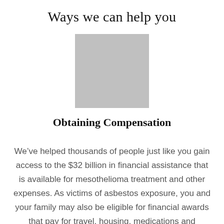Ways we can help you
[Figure (photo): Gray placeholder image/photo]
Obtaining Compensation
We’ve helped thousands of people just like you gain access to the $32 billion in financial assistance that is available for mesothelioma treatment and other expenses. As victims of asbestos exposure, you and your family may also be eligible for financial awards that pay for travel, housing, medications and treatments.